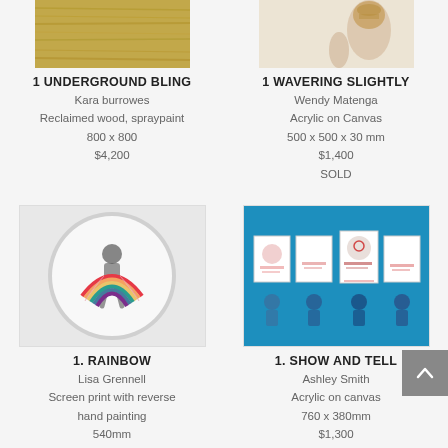[Figure (photo): Artwork photo: Underground Bling - reclaimed wood with spraypaint, textured golden-brown surface]
1 UNDERGROUND BLING
Kara burrowes
Reclaimed wood, spraypaint
800 x 800
$4,200
[Figure (photo): Artwork photo: Wavering Slightly - hand holding a decorative golden cup/trophy]
1 WAVERING SLIGHTLY
Wendy Matenga
Acrylic on Canvas
500 x 500 x 30 mm
$1,400
SOLD
[Figure (photo): Artwork photo: Rainbow - screen print with reverse hand painting showing a figure with a rainbow, circular frame]
1. RAINBOW
Lisa Grennell
Screen print with reverse hand painting
540mm
[Figure (photo): Artwork photo: Show and Tell - acrylic on canvas showing children holding up drawings on blue background]
1. SHOW AND TELL
Ashley Smith
Acrylic on canvas
760 x 380mm
$1,300